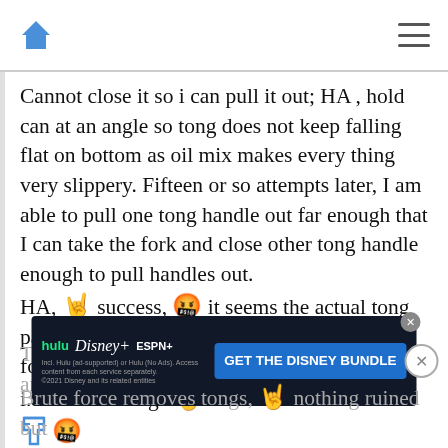Home icon | Hamburger menu
Cannot close it so i can pull it out; HA , hold can at an angle so tong does not keep falling flat on bottom as oil mix makes every thing very slippery. Fifteen or so attempts later, I am able to pull one tong handle out far enough that I can take the fork and close other tong handle enough to pull handles out.
HA, 🤘 success, 🤬 it seems the actual tong part is not going to come out of the hole as forcing it in was done with cone shaped object, i.e. small to large 🤞 🤬 now it was the mostly flat large end, no taper (
Think of forcing a come into a hole point first and then...
[Figure (screenshot): Advertisement banner for Disney Bundle featuring Hulu, Disney+, ESPN+ logos and GET THE DISNEY BUNDLE CTA button]
Brute force removes tongs, 🤘 nothing ruined but